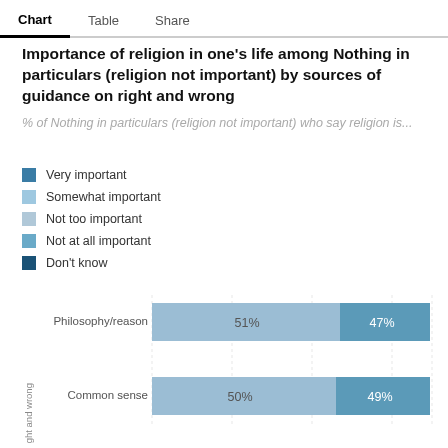Chart  Table  Share
Importance of religion in one's life among Nothing in particulars (religion not important) by sources of guidance on right and wrong
% of Nothing in particulars (religion not important) who say religion is...
Very important
Somewhat important
Not too important
Not at all important
Don't know
[Figure (stacked-bar-chart): Importance of religion by sources of guidance on right and wrong]